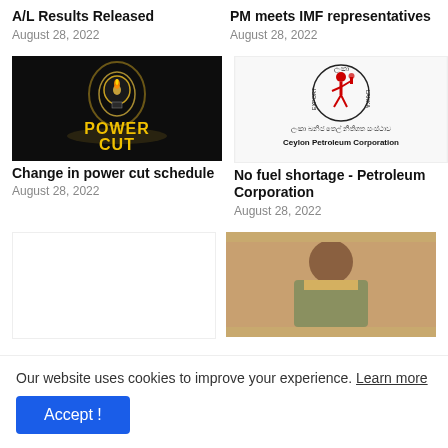A/L Results Released
August 28, 2022
PM meets IMF representatives
August 28, 2022
[Figure (photo): Power cut graphic with dark background showing a lightbulb and text 'POWER CUT' in yellow]
Change in power cut schedule
August 28, 2022
[Figure (logo): Ceylon Petroleum Corporation logo - circular logo with red figure holding a torch, with Sinhala and English text]
No fuel shortage - Petroleum Corporation
August 28, 2022
[Figure (photo): Partial photo of a person, cropped]
Our website uses cookies to improve your experience. Learn more
Accept !